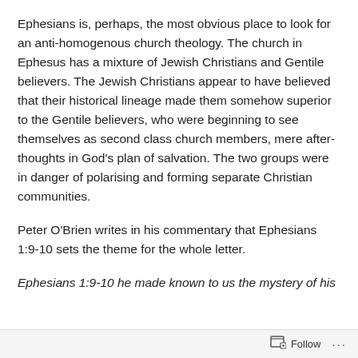Ephesians is, perhaps, the most obvious place to look for an anti-homogenous church theology. The church in Ephesus has a mixture of Jewish Christians and Gentile believers. The Jewish Christians appear to have believed that their historical lineage made them somehow superior to the Gentile believers, who were beginning to see themselves as second class church members, mere after-thoughts in God’s plan of salvation. The two groups were in danger of polarising and forming separate Christian communities.
Peter O’Brien writes in his commentary that Ephesians 1:9-10 sets the theme for the whole letter.
Ephesians 1:9-10 he made known to us the mystery of his will, according to his good pleasure, which he purposed in his
Follow